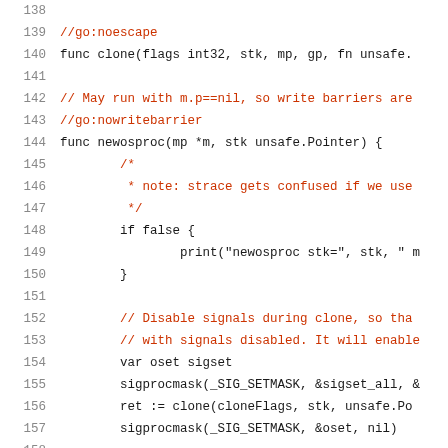[Figure (screenshot): Source code listing in Go programming language, lines 138-159, showing clone and newosproc functions with comments in red/dark-red and code in dark/black monospace font on white background.]